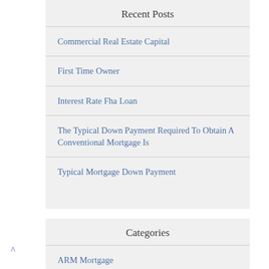Recent Posts
Commercial Real Estate Capital
First Time Owner
Interest Rate Fha Loan
The Typical Down Payment Required To Obtain A Conventional Mortgage Is
Typical Mortgage Down Payment
Categories
ARM Mortgage
^